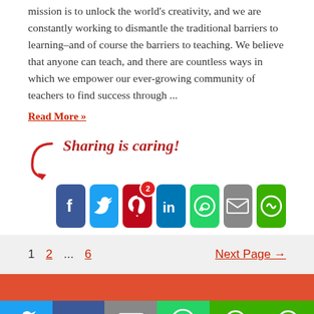mission is to unlock the world's creativity, and we are constantly working to dismantle the traditional barriers to learning–and of course the barriers to teaching. We believe that anyone can teach, and there are countless ways in which we empower our ever-growing community of teachers to find success through ...
Read More »
[Figure (infographic): Sharing is caring! section with social media share buttons: Facebook, Twitter, Pinterest (with badge 2), LinkedIn, WhatsApp, Email, More Options]
1   2   ...   6   Next Page →
[Figure (infographic): Footer social share bar with Twitter, Facebook, Email, WhatsApp, SMS, More Options buttons]